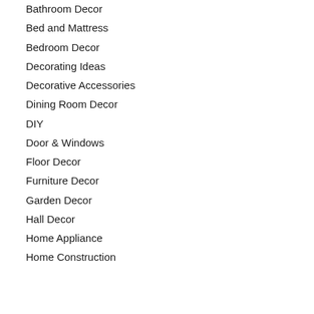Bathroom Decor
Bed and Mattress
Bedroom Decor
Decorating Ideas
Decorative Accessories
Dining Room Decor
DIY
Door & Windows
Floor Decor
Furniture Decor
Garden Decor
Hall Decor
Home Appliance
Home Construction